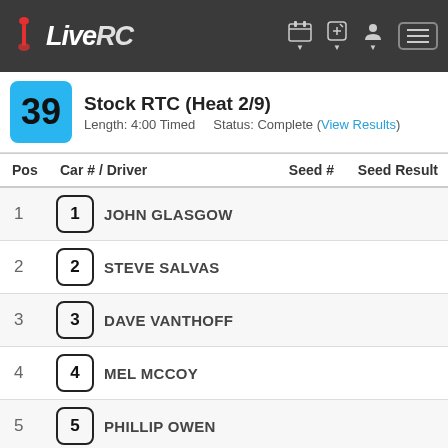LiveRC
Stock RTC (Heat 2/9) — Length: 4:00 Timed — Status: Complete (View Results)
| Pos | Car # / Driver | Seed # | Seed Result |
| --- | --- | --- | --- |
| 1 | 1  JOHN GLASGOW |  |  |
| 2 | 2  STEVE SALVAS |  |  |
| 3 | 3  DAVE VANTHOFF |  |  |
| 4 | 4  MEL MCCOY |  |  |
| 5 | 5  PHILLIP OWEN |  |  |
| 6 | 6  DALE GILLETTE |  |  |
| 7 | 7  JASON BOWLIN |  |  |